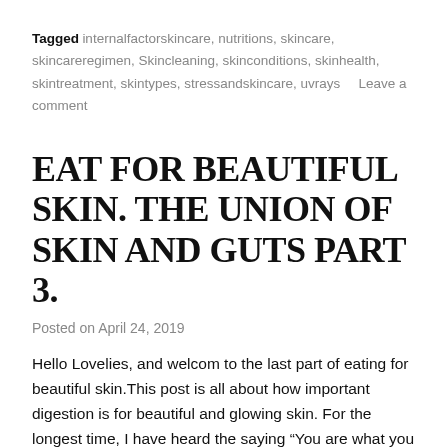Tagged internalfactorskincare, nutritions, skincare, skincareregimen, Skincleaning, skinconditions, skinhealth, skintreatment, skintypes, stressandskincare, uvrays    Leave a comment
EAT FOR BEAUTIFUL SKIN. THE UNION OF SKIN AND GUTS PART 3.
Posted on April 24, 2019
Hello Lovelies, and welcom to the last part of eating for beautiful skin.This post is all about how important digestion is for beautiful and glowing skin. For the longest time, I have heard the saying “You are what you eat”, but recent studies and experiences have made me understand that “we are